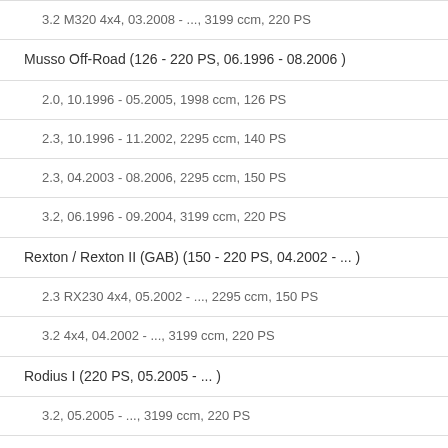3.2 M320 4x4, 03.2008 - ..., 3199 ccm, 220 PS
Musso Off-Road (126 - 220 PS, 06.1996 - 08.2006 )
2.0, 10.1996 - 05.2005, 1998 ccm, 126 PS
2.3, 10.1996 - 11.2002, 2295 ccm, 140 PS
2.3, 04.2003 - 08.2006, 2295 ccm, 150 PS
3.2, 06.1996 - 09.2004, 3199 ccm, 220 PS
Rexton / Rexton II (GAB) (150 - 220 PS, 04.2002 - ... )
2.3 RX230 4x4, 05.2002 - ..., 2295 ccm, 150 PS
3.2 4x4, 04.2002 - ..., 3199 ccm, 220 PS
Rodius I (220 PS, 05.2005 - ... )
3.2, 05.2005 - ..., 3199 ccm, 220 PS
3.2 4WD, 07.2007 - ..., 3199 ccm, 220 PS